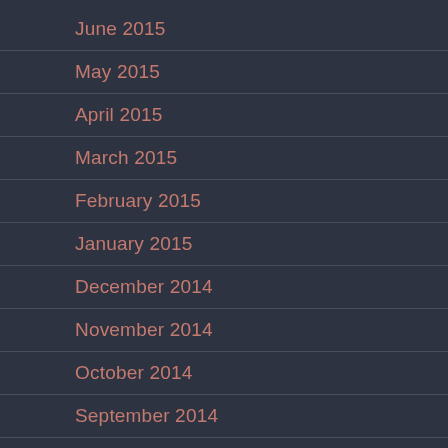June 2015
May 2015
April 2015
March 2015
February 2015
January 2015
December 2014
November 2014
October 2014
September 2014
August 2014